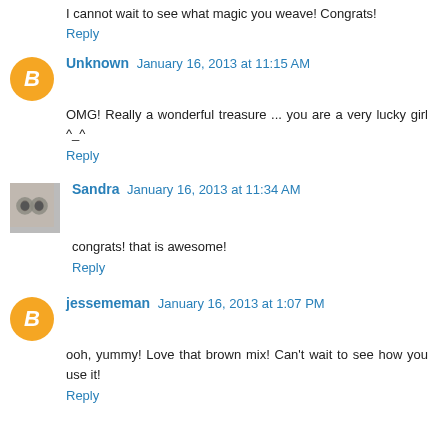I cannot wait to see what magic you weave! Congrats!
Reply
Unknown January 16, 2013 at 11:15 AM
OMG! Really a wonderful treasure ... you are a very lucky girl ^_^
Reply
Sandra January 16, 2013 at 11:34 AM
congrats! that is awesome!
Reply
jessememan January 16, 2013 at 1:07 PM
ooh, yummy! Love that brown mix! Can't wait to see how you use it!
Reply